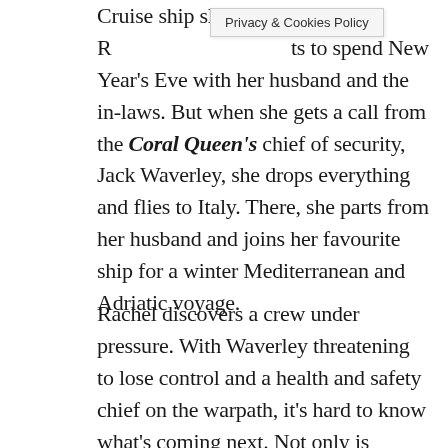Cruise ship sleuth, R[Privacy & Cookies Policy]ts to spend New Year's Eve with her husband and the in-laws. But when she gets a call from the Coral Queen's chief of security, Jack Waverley, she drops everything and flies to Italy. There, she parts from her husband and joins her favourite ship for a winter Mediterranean and Adriatic voyage.
Rachel discovers a crew under pressure. With Waverley threatening to lose control and a health and safety chief on the warpath, it's hard to know what's coming next. Not only is Waverley worried about what the saboteur will do next, he's received a spate of personal threats.